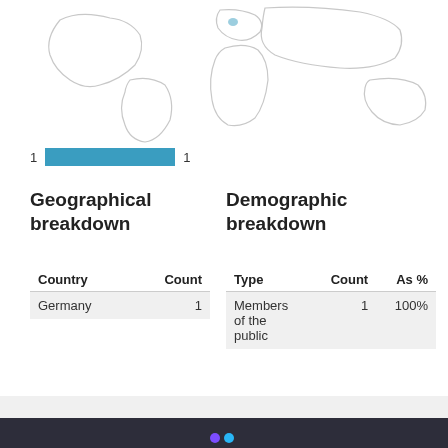[Figure (map): World map outline in light gray showing continents]
[Figure (other): Horizontal legend bar: '1' on left, teal/blue bar, '1' on right]
Geographical breakdown
Demographic breakdown
| Country | Count |
| --- | --- |
| Germany | 1 |
| Type | Count | As % |
| --- | --- | --- |
| Members of the public | 1 | 100% |